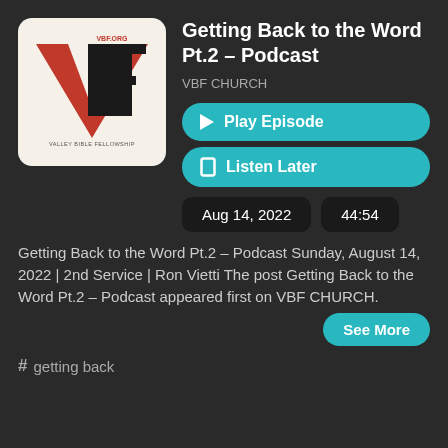[Figure (logo): VBF Valley Bible Fellowship church logo with large red V, black B and F letters on cream background]
Getting Back to the Word Pt.2 – Podcast
VBF CHURCH
▶ Play Episode
☐ Listen Later
Aug 14, 2022
44:54
Getting Back to the Word Pt.2 – Podcast Sunday, August 14, 2022 | 2nd Service | Ron Vietti The post Getting Back to the Word Pt.2 – Podcast appeared first on VBF CHURCH.
See More
# getting back